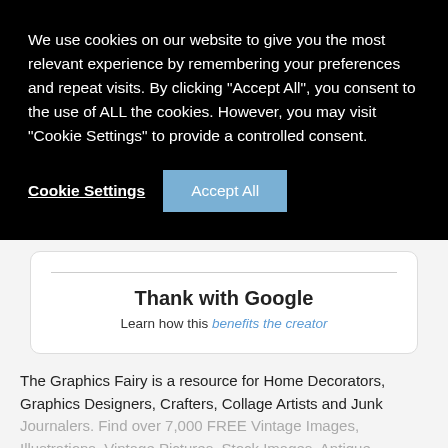We use cookies on our website to give you the most relevant experience by remembering your preferences and repeat visits. By clicking “Accept All”, you consent to the use of ALL the cookies. However, you may visit "Cookie Settings" to provide a controlled consent.
Cookie Settings
Accept All
Thank with Google
Learn how this benefits the creator
The Graphics Fairy is a resource for Home Decorators, Graphics Designers, Crafters, Collage Artists and Junk Journalers. Find over 7,000 FREE Vintage Images, Illustrations, Vintage Pictures, Stock Images, Antique Graphics, Craft